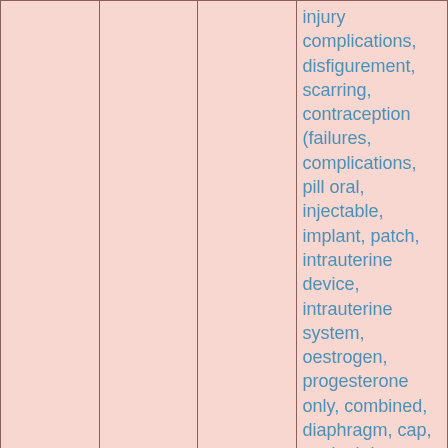|  |  |  | injury complications, disfigurement, scarring, contraception (failures, complications, pill oral, injectable, implant, patch, intrauterine device, intrauterine system, oestrogen, progesterone only, combined, diaphragm, cap, vaginal ring, condoms - male and female, natural family planning), genital precancerous conditions, early diagnosis of genital cancers/precancers (penis, testicles, vulva, cervix, and... |